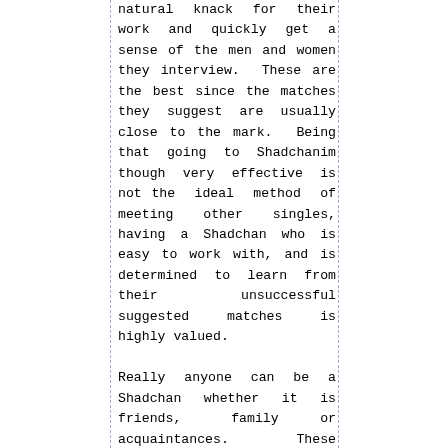natural knack for their work and quickly get a sense of the men and women they interview. These are the best since the matches they suggest are usually close to the mark. Being that going to Shadchanim though very effective is not the ideal method of meeting other singles, having a Shadchan who is easy to work with, and is determined to learn from their unsuccessful suggested matches is highly valued.

Really anyone can be a Shadchan whether it is friends, family or acquaintances. These unofficial Shadchanim are often the best since they